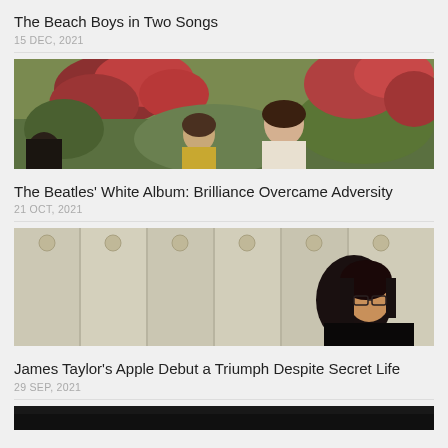The Beach Boys in Two Songs
15 DEC, 2021
[Figure (photo): Photo of The Beatles among red flowers outdoors]
The Beatles’ White Album: Brilliance Overcame Adversity
21 OCT, 2021
[Figure (photo): Photo of a young dark-haired person with glasses standing in front of a white paneled wall]
James Taylor’s Apple Debut a Triumph Despite Secret Life
29 SEP, 2021
[Figure (photo): Dark partial photo at the bottom of the page]